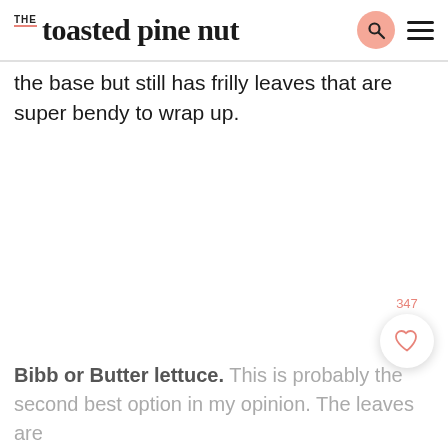THE toasted pine nut
the base but still has frilly leaves that are super bendy to wrap up.
[Figure (other): Heart/like button widget with count 347]
Bibb or Butter lettuce. This is probably the second best option in my opinion. The leaves are